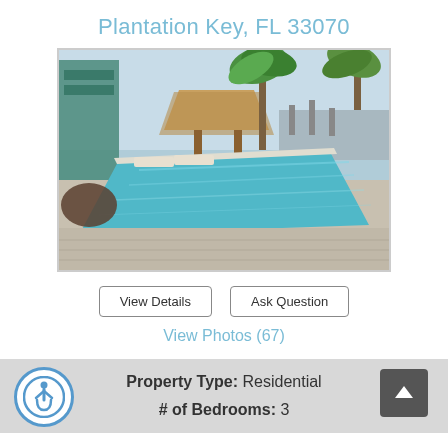Plantation Key, FL 33070
[Figure (photo): Outdoor swimming pool with thatched hut, lounge chairs, and palm trees in a tropical resort setting in Plantation Key, FL]
View Details | Ask Question
View Photos (67)
Property Type: Residential
# of Bedrooms: 3